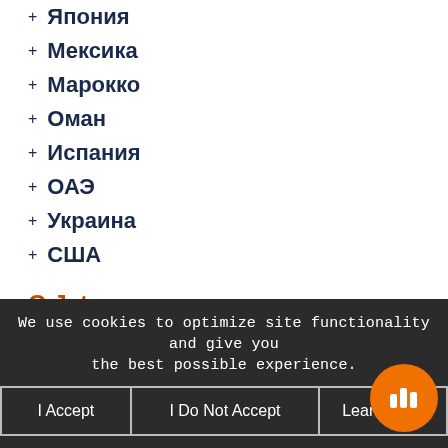+ Япония
+ Мексика
+ Марокко
+ Оман
+ Испания
+ ОАЭ
+ Украина
+ США
О Jetex
Наша история
Вакансии
Карьера
Медиа
Пресс-центр
Блог
We use cookies to optimize site functionality and give you the best possible experience.
I Accept
I Do Not Accept
Learn more